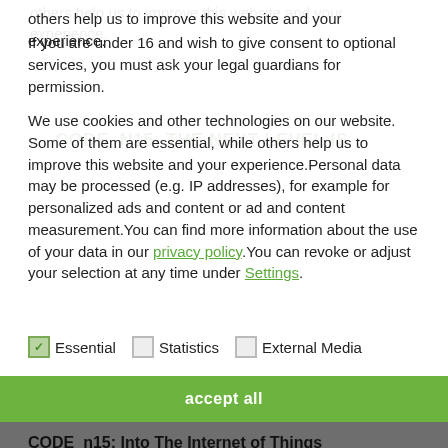others help us to improve this website and your experience.
If you are under 16 and wish to give consent to optional services, you must ask your legal guardians for permission.
We use cookies and other technologies on our website. Some of them are essential, while others help us to improve this website and your experience.Personal data may be processed (e.g. IP addresses), for example for personalized ads and content or ad and content measurement.You can find more information about the use of your data in our privacy policy.You can revoke or adjust your selection at any time under Settings.
Essential
Statistics
External Media
CODE_n15: Into The Internet of Things
In March 2015, it begins all over again: 50 selected startups from all over the world will be showcasing their ideas and business models to the audience at CeBIT. The venue this year is Hall 16 at the world's largest IT fair, which offers a spectacular interpretation of this year's key theme based on the plans by Munich design agency Kram/Weisshaar.